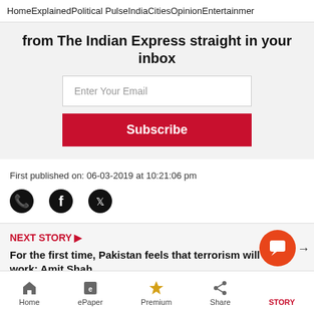Home  Explained  Political Pulse  India  Cities  Opinion  Entertainment
from The Indian Express straight in your inbox
Enter Your Email
Subscribe
First published on: 06-03-2019 at 10:21:06 pm
[Figure (other): Social share icons: WhatsApp, Facebook, Twitter]
NEXT STORY ▶
For the first time, Pakistan feels that terrorism will not work: Amit Shah
Home  ePaper  Premium  Share  STORY